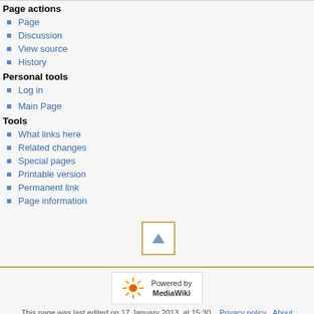Page actions
Page
Discussion
View source
History
Personal tools
Log in
Main Page
Tools
What links here
Related changes
Special pages
Printable version
Permanent link
Page information
[Figure (other): Scroll to top button with upward triangle arrow, gold border]
[Figure (logo): Powered by MediaWiki badge with sunflower logo]
This page was last edited on 17 January 2013, at 15:30.  Privacy policy  About  CASA Guides  Disclaimers